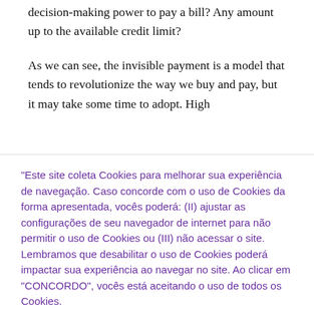decision-making power to pay a bill? Any amount up to the available credit limit?
As we can see, the invisible payment is a model that tends to revolutionize the way we buy and pay, but it may take some time to adopt. High
"Este site coleta Cookies para melhorar sua experiência de navegação. Caso concorde com o uso de Cookies da forma apresentada, vocês poderá: (II) ajustar as configurações de seu navegador de internet para não permitir o uso de Cookies ou (III) não acessar o site. Lembramos que desabilitar o uso de Cookies poderá impactar sua experiência ao navegar no site. Ao clicar em "CONCORDO", vocês está aceitando o uso de todos os Cookies.
Cookie settings
CONCORDO
READ MORE